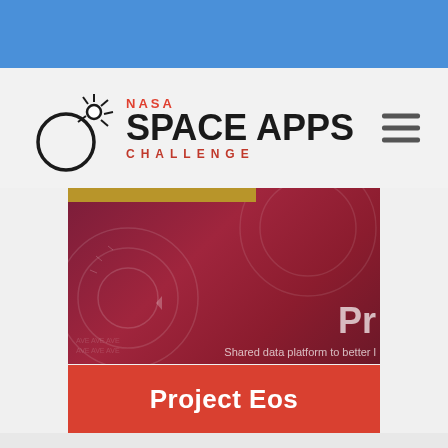[Figure (logo): NASA Space Apps Challenge logo with circular comet/atom graphic and text]
[Figure (screenshot): Dark red/maroon background card with circular radar/dial graphics, partially visible text 'Pr' and 'Shared data platform to better l...' on the right side]
Project Eos